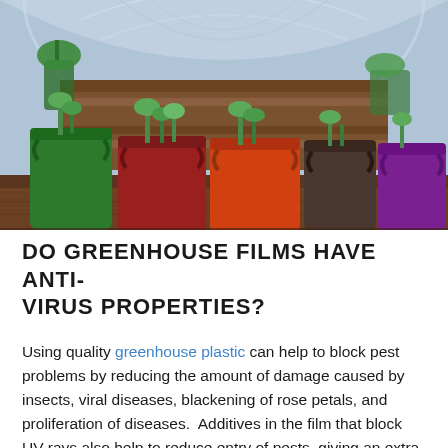[Figure (photo): Interior of a greenhouse tunnel with multiple grow bags in green, red, orange, brown/grey, and purple colors containing young plants, placed on a wooden plank surface. Background shows rows of crops in the greenhouse.]
DO GREENHOUSE FILMS HAVE ANTI-VIRUS PROPERTIES?
Using quality greenhouse plastic can help to block pest problems by reducing the amount of damage caused by insects, viral diseases, blackening of rose petals, and proliferation of diseases.  Additives in the film that block UV rays also help to reduce entry of pests, giving an extra